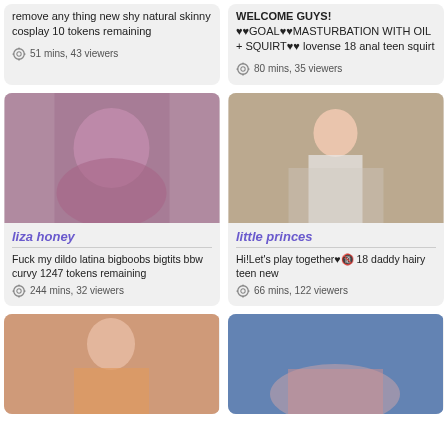[Figure (screenshot): Top-left card: text with description 'remove any thing new shy natural skinny cosplay 10 tokens remaining', 51 mins 43 viewers]
[Figure (screenshot): Top-right card: text WELCOME GUYS! GOAL MASTURBATION WITH OIL + SQUIRT lovense 18 anal teen squirt, 80 mins 35 viewers]
[Figure (photo): liza honey - Fuck my dildo latina bigboobs bigtits bbw curvy 1247 tokens remaining, 244 mins 32 viewers]
[Figure (photo): little princes - Hi!Let's play together 18 daddy hairy teen new, 66 mins 122 viewers]
[Figure (photo): Bottom left partial card showing person with pink hair]
[Figure (photo): Bottom right partial card showing person]